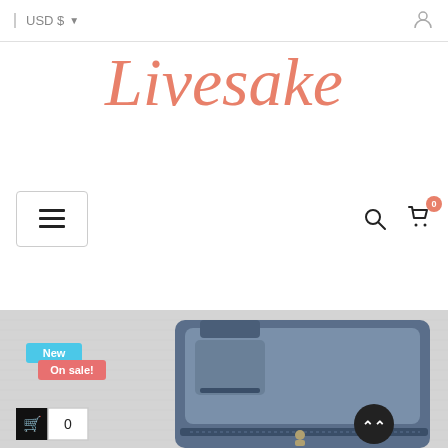USD $ ▾
Livesake
[Figure (screenshot): Navigation bar with hamburger menu icon on left, search icon and shopping cart with badge showing 0 on right]
[Figure (photo): Product photo showing a blue/navy fabric zipper pouch/bag on grey fabric background, with New and On sale! badges overlaid, and a scroll-to-top button]